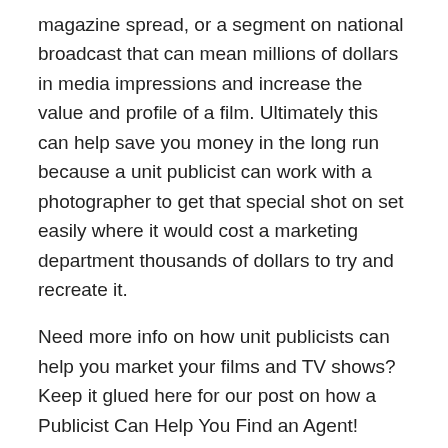magazine spread, or a segment on national broadcast that can mean millions of dollars in media impressions and increase the value and profile of a film. Ultimately this can help save you money in the long run because a unit publicist can work with a photographer to get that special shot on set easily where it would cost a marketing department thousands of dollars to try and recreate it.
Need more info on how unit publicists can help you market your films and TV shows? Keep it glued here for our post on how a Publicist Can Help You Find an Agent!
Rate this:
Rate This
January 24, 2017